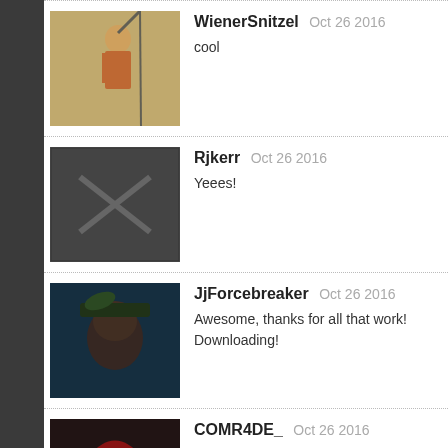[Figure (other): Dark left sidebar bar]
WienerSnitzel Oct 26 2016
cool
Rjkerr Oct 26 2016
Yeees!
JjForcebreaker Oct 26 2016
Awesome, thanks for all that work!
Downloading!
COMR4DE_ Oct 26 2016
Will the .rar file be posted as well, or will us lowly mac and linux p... workshop page to be updated?